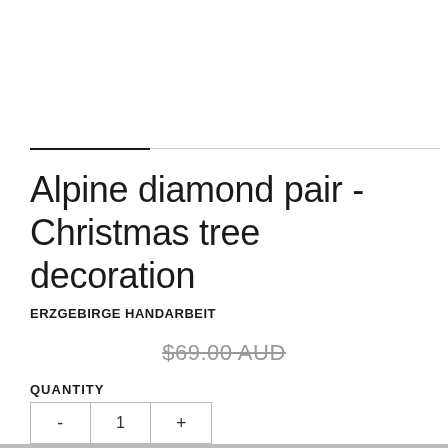Alpine diamond pair - Christmas tree decoration
ERZGEBIRGE HANDARBEIT
$69.00 AUD
QUANTITY
- 1 +